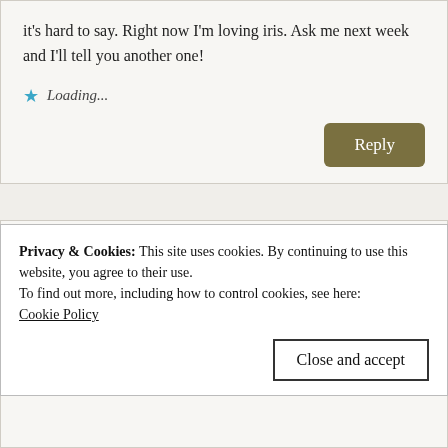it's hard to say. Right now I'm loving iris. Ask me next week and I'll tell you another one!
Loading...
Reply
Martha Franks
April 27, 2020 at 9:42 am
I follow you on Pinterest!
Privacy & Cookies: This site uses cookies. By continuing to use this website, you agree to their use.
To find out more, including how to control cookies, see here:
Cookie Policy
Close and accept